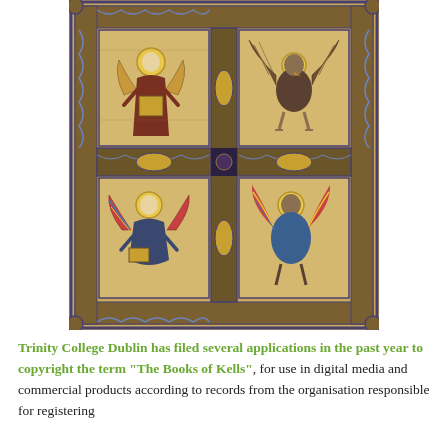[Figure (illustration): Illuminated manuscript page from the Book of Kells showing four evangelist symbols in quadrants: top-left a standing figure with halo (Man/Matthew), top-right a winged eagle (John), bottom-left a kneeling angel figure (Mark or Luke), bottom-right a winged figure (another evangelist symbol). Ornate interlaced borders in gold, blue, and red surround each quadrant on a warm ochre/gold background.]
Trinity College Dublin has filed several applications in the past year to copyright the term "The Books of Kells", for use in digital media and commercial products according to records from the organisation responsible for registering